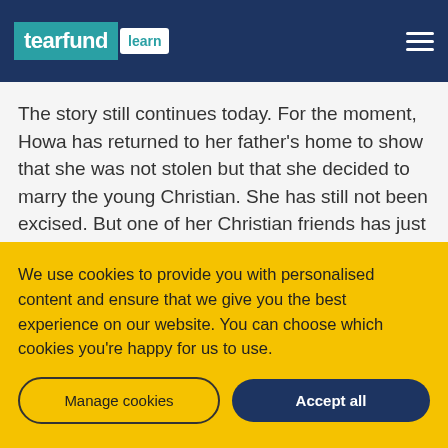tearfund Learn
The story still continues today. For the moment, Howa has returned to her father’s home to show that she was not stolen but that she decided to marry the young Christian. She has still not been excised. But one of her Christian friends has just been excised three days ago…
We use cookies to provide you with personalised content and ensure that we give you the best experience on our website. You can choose which cookies you’re happy for us to use.
Manage cookies
Accept all